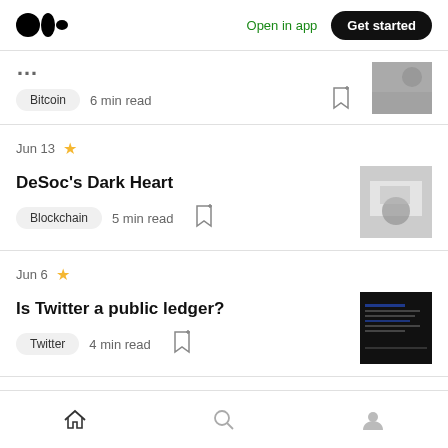Medium logo | Open in app | Get started
Bitcoin · 6 min read
Jun 13 ★ DeSoc's Dark Heart — Blockchain · 5 min read
Jun 6 ★ Is Twitter a public ledger? — Twitter · 4 min read
Home | Search | Profile